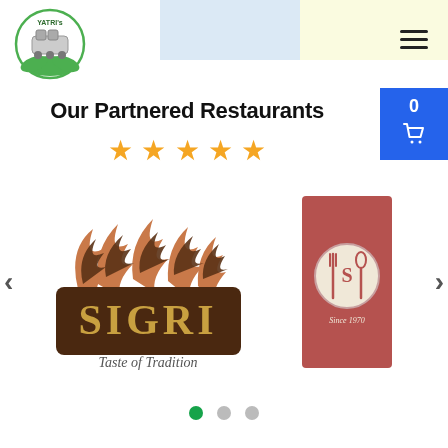[Figure (logo): Yatri's logo — circular logo with train and green leaves, text YATRI's]
Our Partnered Restaurants
[Figure (other): Five gold star rating icons]
[Figure (other): Carousel showing Sigri restaurant logo (Taste of Tradition) and a second restaurant card (Since 1970) with navigation arrows and pagination dots]